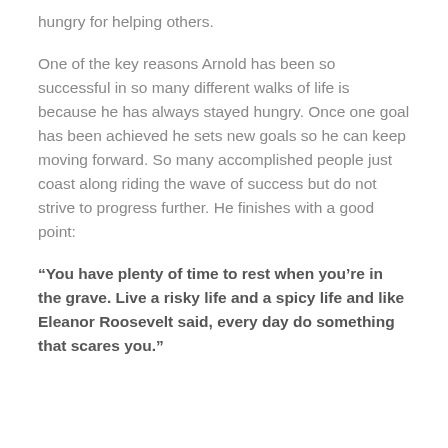hungry for helping others.
One of the key reasons Arnold has been so successful in so many different walks of life is because he has always stayed hungry. Once one goal has been achieved he sets new goals so he can keep moving forward. So many accomplished people just coast along riding the wave of success but do not strive to progress further. He finishes with a good point:
“You have plenty of time to rest when you’re in the grave. Live a risky life and a spicy life and like Eleanor Roosevelt said, every day do something that scares you.”